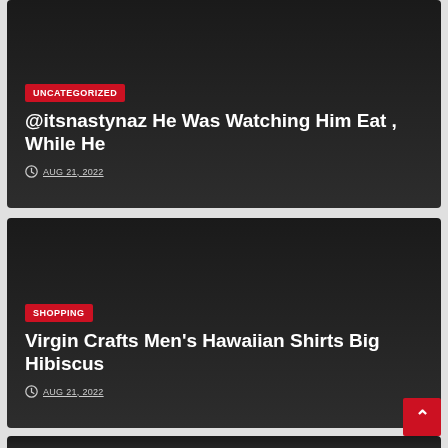[Figure (screenshot): Dark blog card with UNCATEGORIZED badge, title '@itsnastynaz He Was Watching Him Eat , While He', and date AUG 21, 2022]
[Figure (screenshot): Dark blog card with SHOPPING badge, title 'Virgin Crafts Men’s Hawaiian Shirts Big Hibiscus', and date AUG 21, 2022]